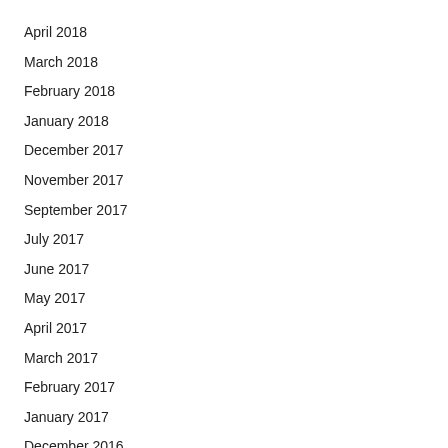April 2018
March 2018
February 2018
January 2018
December 2017
November 2017
September 2017
July 2017
June 2017
May 2017
April 2017
March 2017
February 2017
January 2017
December 2016